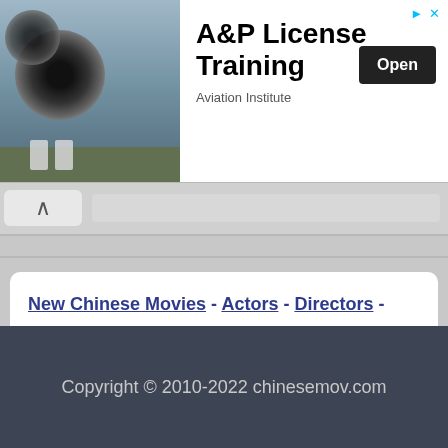[Figure (photo): Advertisement banner showing jet engine aircraft photo with A&P License Training text and Open button for Aviation Institute]
New Chinese Movies - Actors - Directors - Movies and TV Categories - Chinese Movie List by Year - Chinese Movie Awards - Best Chinese Movies - Chinese Movie List A-Z
Copyright © 2010-2022 chinesemov.com